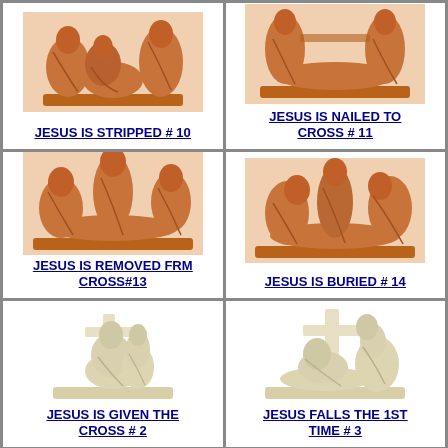[Figure (photo): Terracotta statue group of Jesus being stripped, Station #10]
JESUS IS STRIPPED # 10
[Figure (photo): Terracotta statue group of Jesus nailed to cross, Station #11]
JESUS IS NAILED TO CROSS # 11
[Figure (photo): Terracotta statue group of Jesus removed from cross, Station #13]
JESUS IS REMOVED FRM CROSS#13
[Figure (photo): Terracotta statue group of Jesus being buried, Station #14]
JESUS IS BURIED # 14
[Figure (photo): Ivory/white statue group of Jesus given the cross, Station #2]
JESUS IS GIVEN THE CROSS # 2
[Figure (photo): Ivory/white statue group of Jesus falling the 1st time, Station #3]
JESUS FALLS THE 1ST TIME # 3